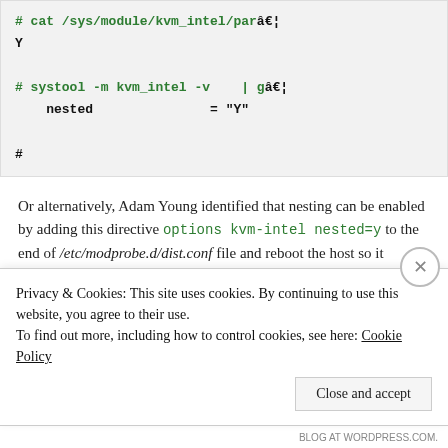[Figure (screenshot): Code block showing shell commands: '# cat /sys/module/kvm_intel/para', 'Y', '# systool -m kvm_intel -v | gr', 'nested = "Y"', '#']
Or alternatively, Adam Young identified that nesting can be enabled by adding this directive options kvm-intel nested=y to the end of /etc/modprobe.d/dist.conf file and reboot the host so it persists.
Set up the Regular Guest(or
Privacy & Cookies: This site uses cookies. By continuing to use this website, you agree to their use.
To find out more, including how to control cookies, see here: Cookie Policy